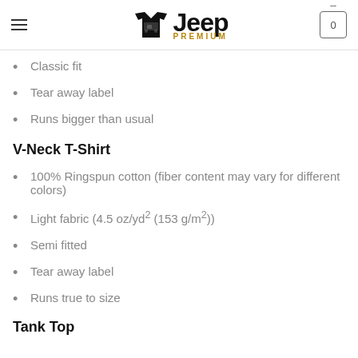Jeep Premium
100% Cotton (fiber content may vary for different colors)
Medium fabric
Classic fit
Tear away label
Runs bigger than usual
V-Neck T-Shirt
100% Ringspun cotton (fiber content may vary for different colors)
Light fabric (4.5 oz/yd² (153 g/m²))
Semi fitted
Tear away label
Runs true to size
Tank Top